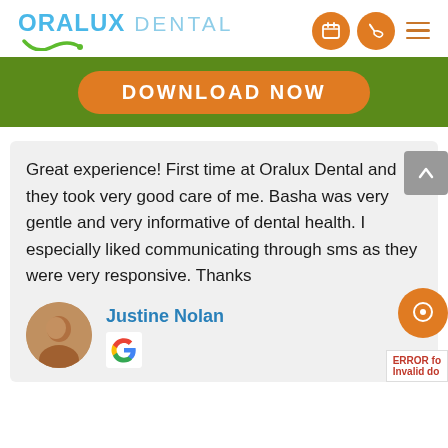[Figure (logo): Oralux Dental logo with blue/teal text and orange/green smile arc, plus calendar and phone icons and hamburger menu]
[Figure (screenshot): Green banner with orange rounded 'DOWNLOAD NOW' button]
Great experience! First time at Oralux Dental and they took very good care of me. Basha was very gentle and very informative of dental health. I especially liked communicating through sms as they were very responsive. Thanks
Justine Nolan